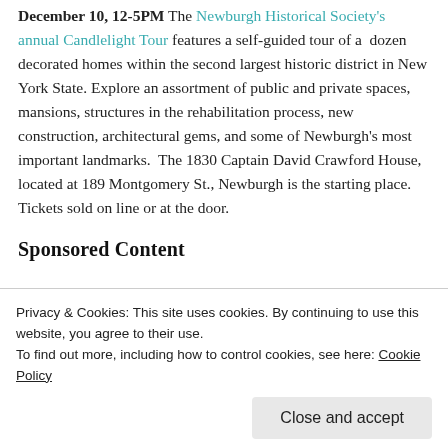December 10, 12-5PM The Newburgh Historical Society's annual Candlelight Tour features a self-guided tour of a dozen decorated homes within the second largest historic district in New York State. Explore an assortment of public and private spaces, mansions, structures in the rehabilitation process, new construction, architectural gems, and some of Newburgh's most important landmarks. The 1830 Captain David Crawford House, located at 189 Montgomery St., Newburgh is the starting place. Tickets sold on line or at the door.
Sponsored Content
Privacy & Cookies: This site uses cookies. By continuing to use this website, you agree to their use.
To find out more, including how to control cookies, see here: Cookie Policy
Close and accept
[Figure (photo): Partial image at the bottom of the page showing an American flag with red and white stripes and stars, cropped.]